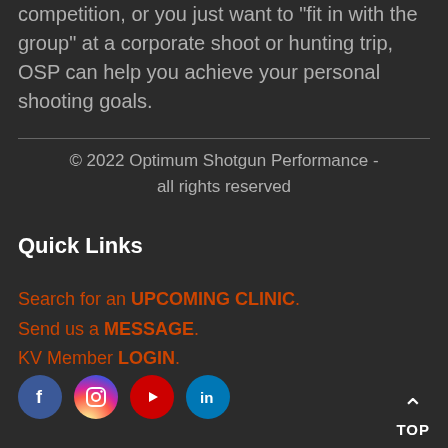competition, or you just want to "fit in with the group" at a corporate shoot or hunting trip, OSP can help you achieve your personal shooting goals.
© 2022 Optimum Shotgun Performance - all rights reserved
Quick Links
Search for an UPCOMING CLINIC.
Send us a MESSAGE.
KV Member LOGIN.
[Figure (illustration): Social media icons: Facebook, Instagram, YouTube, LinkedIn]
TOP